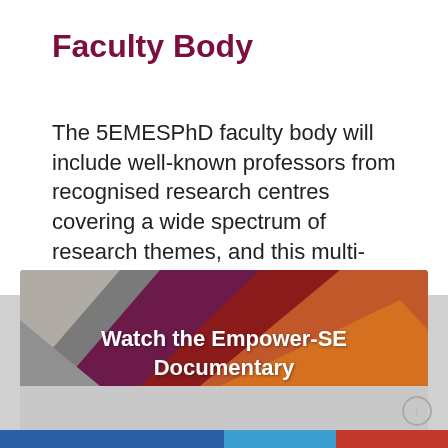Faculty Body
The 5EMESPhD faculty body will include well-known professors from recognised research centres covering a wide spectrum of research themes, and this multi-disciplinary approach will
[Figure (screenshot): A modal popup overlay on a webpage showing the COST (European Cooperation in Science & Technology) logo, decorative geometric triangle artwork in orange, red, purple and grey, with bold white text 'Watch the Empower-SE Documentary', a yellow 'Go now!' button and a grey 'Later, thanks!' button, and a close (×) button in the top right.]